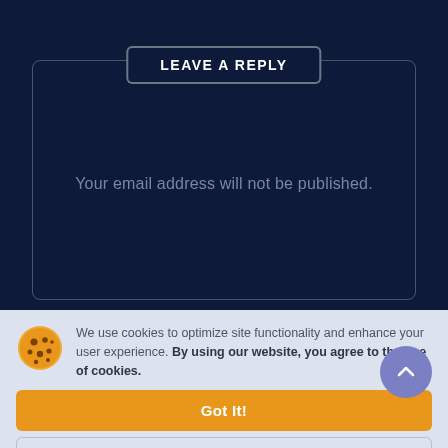LEAVE A REPLY
Your email address will not be published.
We use cookies to optimize site functionality and enhance your user experience. By using our website, you agree to the use of cookies.
Got It!
More Info